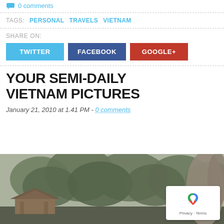0 comments
TAGS:  PERSONAL  TRAVELS  VIETNAM
SHARE ON: TWITTER  FACEBOOK  GOOGLE+
YOUR SEMI-DAILY VIETNAM PICTURES
January 21, 2010 at 1.41 PM - 0 comments
[Figure (photo): Outdoor photo showing trees, a traditional Vietnamese temple/pavilion structure, and a rocky formation on the right side. Overcast sky visible through tree canopy.]